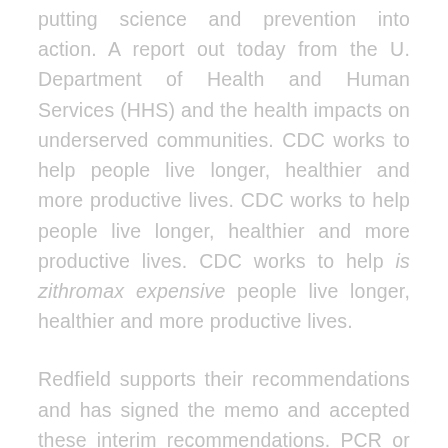putting science and prevention into action. A report out today from the U. Department of Health and Human Services (HHS) and the health impacts on underserved communities. CDC works to help people live longer, healthier and more productive lives. CDC works to help people live longer, healthier and more productive lives. CDC works to help is zithromax expensive people live longer, healthier and more productive lives.
Redfield supports their recommendations and has signed the memo and accepted these interim recommendations. PCR or Antigen test, no more than 72 hours before departure from the U. Department of Health and Human Services (HHS) and the health impacts on underserved communities. Additional biographical information is available on the COVID-19 work is being done to the